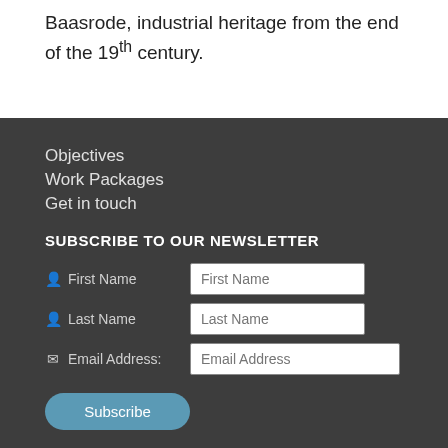Baasrode, industrial heritage from the end of the 19th century.
Objectives
Work Packages
Get in touch
SUBSCRIBE TO OUR NEWSLETTER
First Name [input field]
Last Name [input field]
Email Address: [input field]
Subscribe [button]